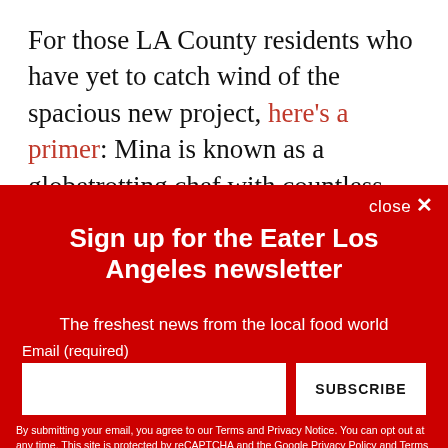For those LA County residents who have yet to catch wind of the spacious new project, here's a primer: Mina is known as a globetrotting chef with countless restaurant projects to his name, including Bourbon Steak in Los Angeles and at the Waldorf Astoria in Orange County's Dana Point, while Bolthouse is renowned for his nightlife properties including the ...
close ✕
Sign up for the Eater Los Angeles newsletter
The freshest news from the local food world
Email (required)
SUBSCRIBE
By submitting your email, you agree to our Terms and Privacy Notice. You can opt out at any time. This site is protected by reCAPTCHA and the Google Privacy Policy and Terms of Service apply.